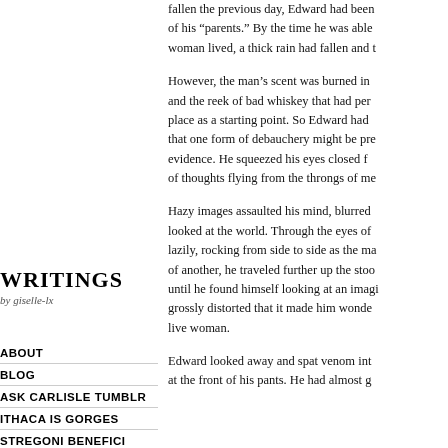fallen the previous day, Edward had been of his “parents.” By the time he was able woman lived, a thick rain had fallen and t
However, the man’s scent was burned in and the reek of bad whiskey that had per place as a starting point. So Edward had that one form of debauchery might be pre evidence. He squeezed his eyes closed f of thoughts flying from the throngs of me
Writings by giselle-lx
ABOUT
BLOG
ASK CARLISLE TUMBLR
ITHACA IS GORGES
STREGONI BENEFICI
ONE DAY
Hazy images assaulted his mind, blurred looked at the world. Through the eyes of lazily, rocking from side to side as the ma of another, he traveled further up the stoo until he found himself looking at an imagi grossly distorted that it made him wonde live woman.
Edward looked away and spat venom int at the front of his pants. He had almost g